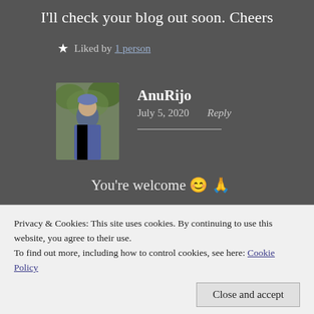I'll check your blog out soon. Cheers
★ Liked by 1 person
AnuRijo
July 5, 2020   Reply
You're welcome 😊 🙏
Privacy & Cookies: This site uses cookies. By continuing to use this website, you agree to their use.
To find out more, including how to control cookies, see here: Cookie Policy
Close and accept